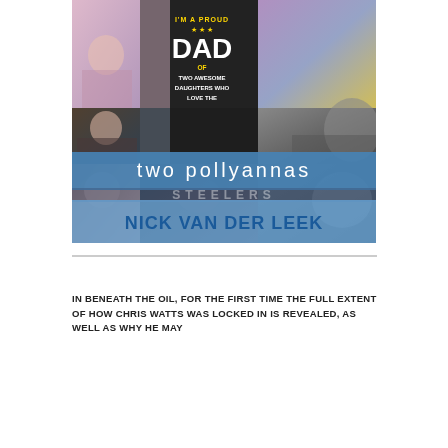[Figure (illustration): Book cover for 'two pollyannas' by Nick Van Der Leek. Collage of family photos including children and adults. Center shows a man in a black t-shirt reading 'I'm a Proud DAD of Two Awesome Daughters Who Love The' with a Steelers-inspired design. Blue banner across center reads 'two pollyannas' and blue banner at bottom reads 'NICK VAN DER LEEK'.]
IN BENEATH THE OIL, FOR THE FIRST TIME THE FULL EXTENT OF HOW CHRIS WATTS WAS LOCKED IN IS REVEALED, AS WELL AS WHY HE MAY